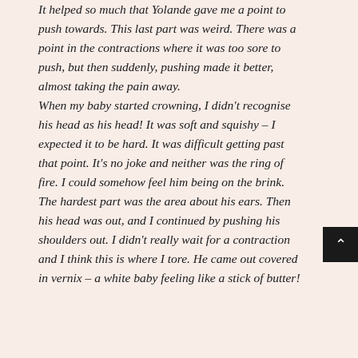It helped so much that Yolande gave me a point to push towards. This last part was weird. There was a point in the contractions where it was too sore to push, but then suddenly, pushing made it better, almost taking the pain away. When my baby started crowning, I didn't recognise his head as his head! It was soft and squishy – I expected it to be hard. It was difficult getting past that point. It's no joke and neither was the ring of fire. I could somehow feel him being on the brink. The hardest part was the area about his ears. Then his head was out, and I continued by pushing his shoulders out. I didn't really wait for a contraction and I think this is where I tore. He came out covered in vernix – a white baby feeling like a stick of butter!